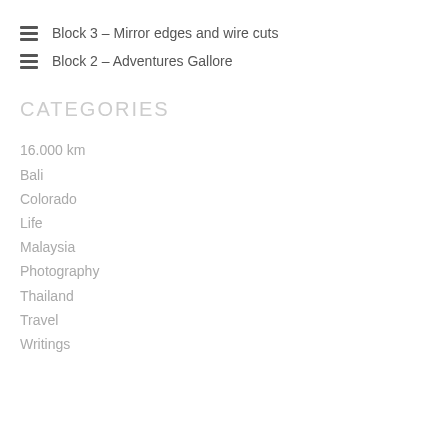Block 3 – Mirror edges and wire cuts
Block 2 – Adventures Gallore
CATEGORIES
16.000 km
Bali
Colorado
Life
Malaysia
Photography
Thailand
Travel
Writings